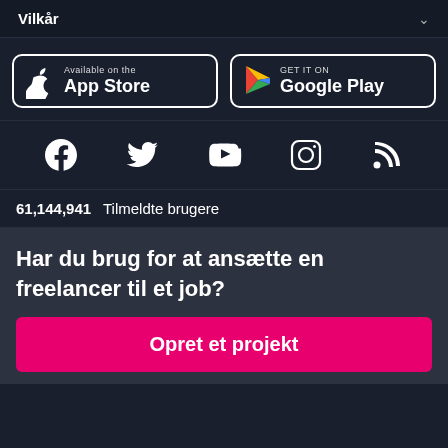Vilkår
[Figure (logo): App Store and Google Play store buttons]
[Figure (infographic): Social media icons: Facebook, Twitter, YouTube, Instagram, RSS]
61,144,941  Tilmeldte brugere
Har du brug for at ansætte en freelancer til et job?
Opret et projekt